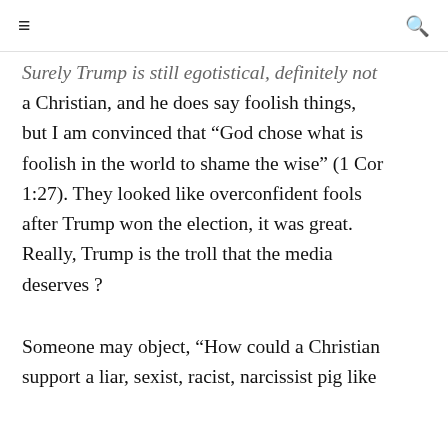≡  🔍
Surely Trump is still egotistical, definitely not a Christian, and he does say foolish things, but I am convinced that “God chose what is foolish in the world to shame the wise” (1 Cor 1:27). They looked like overconfident fools after Trump won the election, it was great. Really, Trump is the troll that the media deserves ?
Someone may object, “How could a Christian support a liar, sexist, racist, narcissist pig like